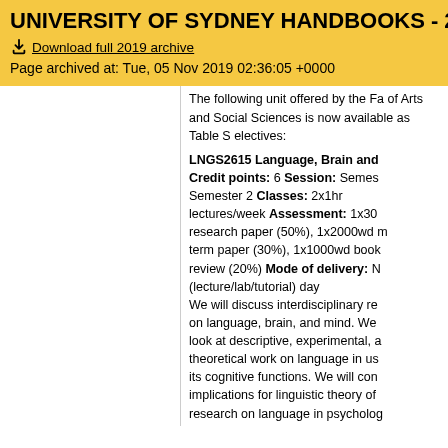UNIVERSITY OF SYDNEY HANDBOOKS - 2019
Download full 2019 archive
Page archived at: Tue, 05 Nov 2019 02:36:05 +0000
The following unit offered by the Faculty of Arts and Social Sciences is now available as Table S electives:
LNGS2615 Language, Brain and Mind Credit points: 6 Session: Semester 2 Classes: 2x1hr lectures/week Assessment: 1x3000wd research paper (50%), 1x2000wd mid-term paper (30%), 1x1000wd book review (20%) Mode of delivery: Normal (lecture/lab/tutorial) day We will discuss interdisciplinary research on language, brain, and mind. We will look at descriptive, experimental, and theoretical work on language in use and its cognitive functions. We will consider implications for linguistic theory of research on language in psychology, sociology, and anthropology. Topics include: language and the brain, language learning, speech perception